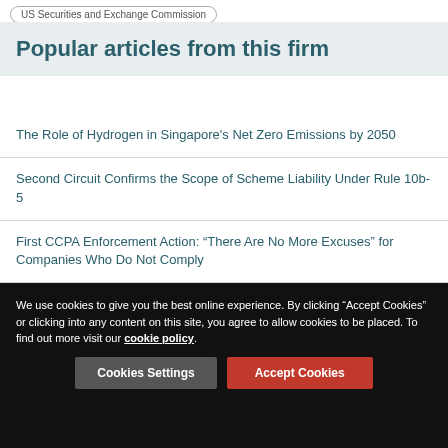US Securities and Exchange Commission
Popular articles from this firm
The Role of Hydrogen in Singapore's Net Zero Emissions by 2050
Second Circuit Confirms the Scope of Scheme Liability Under Rule 10b-5
First CCPA Enforcement Action: “There Are No More Excuses” for Companies Who Do Not Comply
The Beginnings of a Perfect Storm? DOJ’s Cyber Review Report, NSPM-33 Research Security Requirements and Aerojet’s $9 Million False Claims Act Settlement
We use cookies to give you the best online experience. By clicking “Accept Cookies” or clicking into any content on this site, you agree to allow cookies to be placed. To find out more visit our cookie policy.